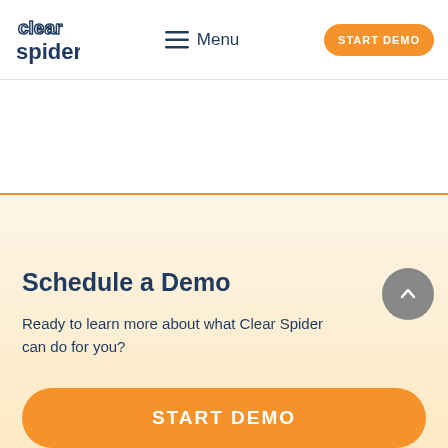Clear Spider | Menu | START DEMO
[Figure (logo): Clear Spider logo — stylized text with 'clear' in outline above 'spider' in bold blue]
Schedule a Demo
Ready to learn more about what Clear Spider can do for you?
START DEMO